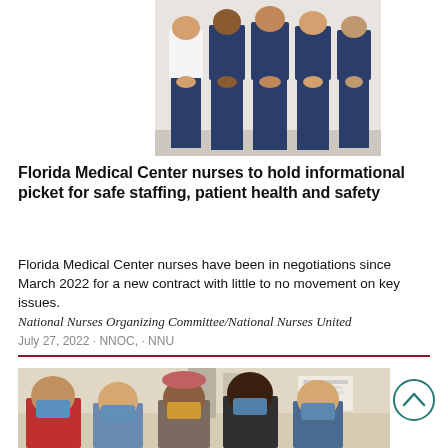[Figure (photo): Group photo of four nurses wearing blue scrubs, standing together against a white background, shown from roughly mid-torso down.]
Florida Medical Center nurses to hold informational picket for safe staffing, patient health and safety
Florida Medical Center nurses have been in negotiations since March 2022 for a new contract with little to no movement on key issues.
National Nurses Organizing Committee/National Nurses United
July 27, 2022 · NNOC, · NNU
[Figure (photo): Group photo of nurses wearing face masks inside a medical facility hallway.]